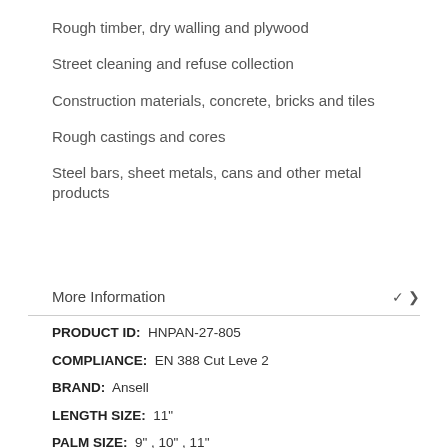Rough timber, dry walling and plywood
Street cleaning and refuse collection
Construction materials, concrete, bricks and tiles
Rough castings and cores
Steel bars, sheet metals, cans and other metal products
More Information
| Field | Value |
| --- | --- |
| PRODUCT ID: | HNPAN-27-805 |
| COMPLIANCE: | EN 388 Cut Leve 2 |
| BRAND: | Ansell |
| LENGTH SIZE: | 11" |
| PALM SIZE: | 9" , 10" , 11" |
| CONSTRUCTION: | Cut & sewn |